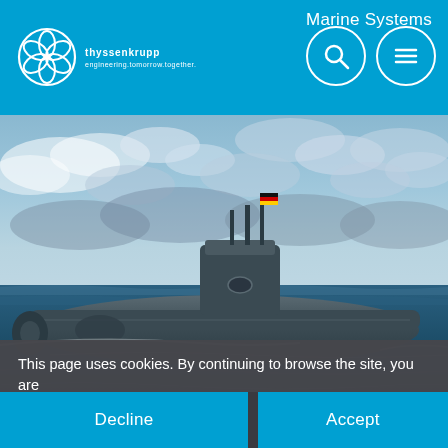Marine Systems
[Figure (logo): thyssenkrupp logo with globe icon and tagline 'engineering.tomorrow.together.']
[Figure (photo): Photograph of a thyssenkrupp submarine at sea with cloudy sky background, German flag visible on conning tower]
This page uses cookies. By continuing to browse the site, you are agreeing to our use of cookies. You can find out more in our legal notes.
Home > Products & Services > Submarines
Decline
Accept